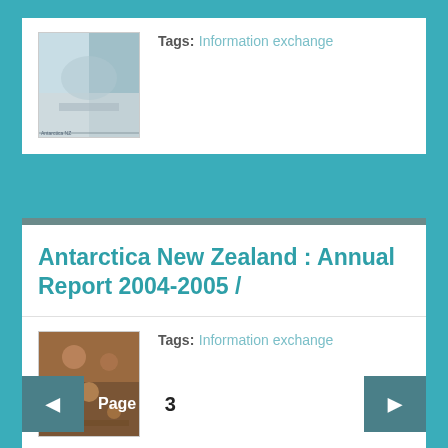[Figure (photo): Thumbnail image of Antarctica/snow scene cover]
Tags: Information exchange
Antarctica New Zealand : Annual Report 2004-2005 /
[Figure (photo): Thumbnail image of rocks/lichen]
Tags: Information exchange
Page 3 of 6